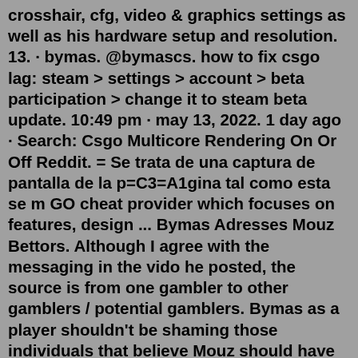crosshair, cfg, video & graphics settings as well as his hardware setup and resolution. 13. · bymas. @bymascs. how to fix csgo lag: steam > settings > account > beta participation > change it to steam beta update. 10:49 pm · may 13, 2022. 1 day ago · Search: Csgo Multicore Rendering On Or Off Reddit. = Se trata de una captura de pantalla de la p=C3=A1gina tal como esta se m GO cheat provider which focuses on features, design ... Bymas Adresses Mouz Bettors. Although I agree with the messaging in the vido he posted, the source is from one gambler to other gamblers / potential gamblers. Bymas as a player shouldn't be shaming those individuals that believe Mouz should have won and then lost real world money on the bet. It will not placate the gamblers in any way shape or ...Your favorite first person shooter's favorite first person shooter.Open Steam Application. Click in the upper menu Steam -> Settings. In the opened window, choose the In-Game tab (in the left menu). Look for In-game FPS counter